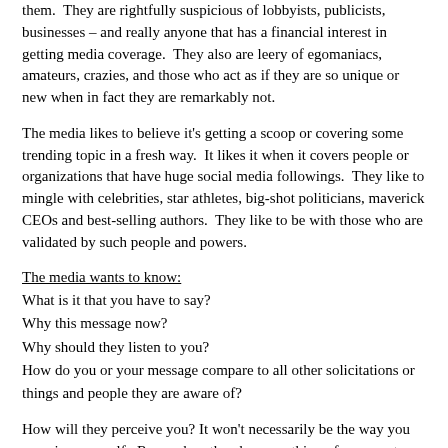them.  They are rightfully suspicious of lobbyists, publicists, businesses – and really anyone that has a financial interest in getting media coverage.  They also are leery of egomaniacs, amateurs, crazies, and those who act as if they are so unique or new when in fact they are remarkably not.
The media likes to believe it's getting a scoop or covering some trending topic in a fresh way.  It likes it when it covers people or organizations that have huge social media followings.  They like to mingle with celebrities, star athletes, big-shot politicians, maverick CEOs and best-selling authors.  They like to be with those who are validated by such people and powers.
The media wants to know:
What is it that you have to say?
Why this message now?
Why should they listen to you?
How do you or your message compare to all other solicitations or things and people they are aware of?
How will they perceive you? It won't necessarily be the way you perceive yourself.  Remember, they know nothing of your past,